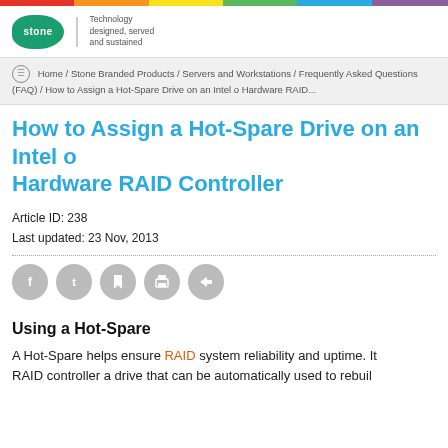[Figure (logo): Stone Technology logo with green organic shape and tagline 'Technology designed, served and sustained']
Home / Stone Branded Products / Servers and Workstations / Frequently Asked Questions (FAQ) / How to Assign a Hot-Spare Drive on an Intel o Hardware RAID...
How to Assign a Hot-Spare Drive on an Intel o Hardware RAID Controller
Article ID: 238
Last updated: 23 Nov, 2013
[Figure (infographic): Row of 5 social sharing icon buttons: Facebook, Twitter, Bookmark, Print, Forward — all grey circles]
Using a Hot-Spare
A Hot-Spare helps ensure RAID system reliability and uptime. It RAID controller a drive that can be automatically used to rebuil